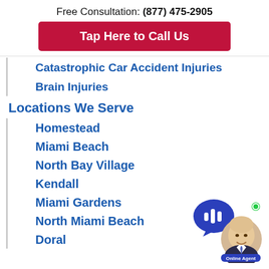Free Consultation: (877) 475-2905
Tap Here to Call Us
Catastrophic Car Accident Injuries
Brain Injuries
Locations We Serve
Homestead
Miami Beach
North Bay Village
Kendall
Miami Gardens
North Miami Beach
Doral
[Figure (illustration): Online Agent chat widget with a photo of a bald man in a suit, a blue speech bubble icon with sound waves, a green online dot, and an 'Online Agent' label.]